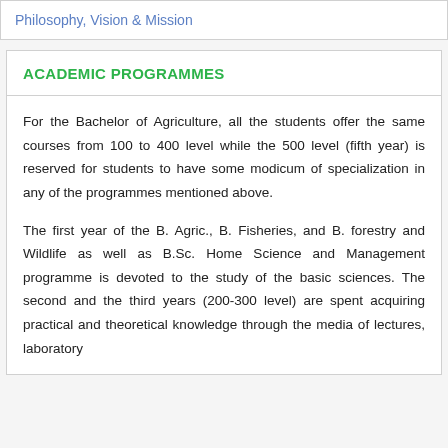Philosophy, Vision & Mission
ACADEMIC PROGRAMMES
For the Bachelor of Agriculture, all the students offer the same courses from 100 to 400 level while the 500 level (fifth year) is reserved for students to have some modicum of specialization in any of the programmes mentioned above.
The first year of the B. Agric., B. Fisheries, and B. forestry and Wildlife as well as B.Sc. Home Science and Management programme is devoted to the study of the basic sciences. The second and the third years (200-300 level) are spent acquiring practical and theoretical knowledge through the media of lectures, laboratory